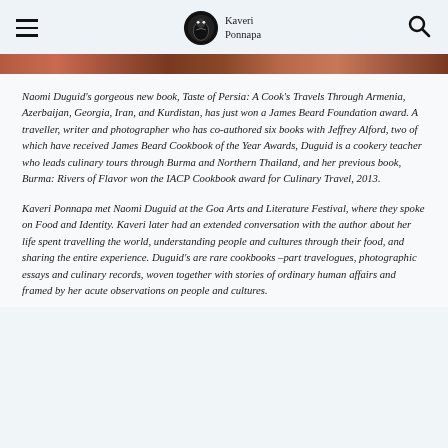Kaveri Ponnapa
Naomi Duguid's gorgeous new book, Taste of Persia: A Cook's Travels Through Armenia, Azerbaijan, Georgia, Iran, and Kurdistan, has just won a James Beard Foundation award. A traveller, writer and photographer who has co-authored six books with Jeffrey Alford, two of which have received James Beard Cookbook of the Year Awards, Duguid is a cookery teacher who leads culinary tours through Burma and Northern Thailand, and her previous book, Burma: Rivers of Flavor won the IACP Cookbook award for Culinary Travel, 2013.
Kaveri Ponnapa met Naomi Duguid at the Goa Arts and Literature Festival, where they spoke on Food and Identity. Kaveri later had an extended conversation with the author about her life spent travelling the world, understanding people and cultures through their food, and sharing the entire experience. Duguid's are rare cookbooks –part travelogues, photographic essays and culinary records, woven together with stories of ordinary human affairs and framed by her acute observations on people and cultures.